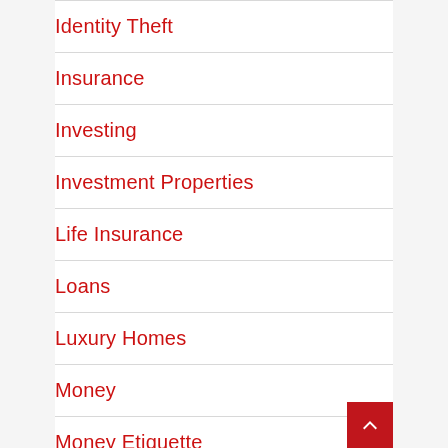Identity Theft
Insurance
Investing
Investment Properties
Life Insurance
Loans
Luxury Homes
Money
Money Etiquette